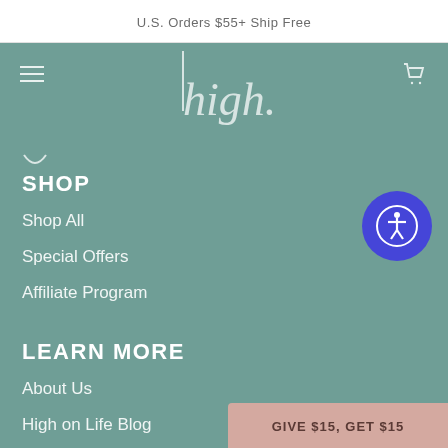U.S. Orders $55+ Ship Free
[Figure (logo): high. brand logo in white italic text on teal/sage green background]
SHOP
Shop All
Special Offers
Affiliate Program
LEARN MORE
About Us
High on Life Blog
GIVE $15, GET $15